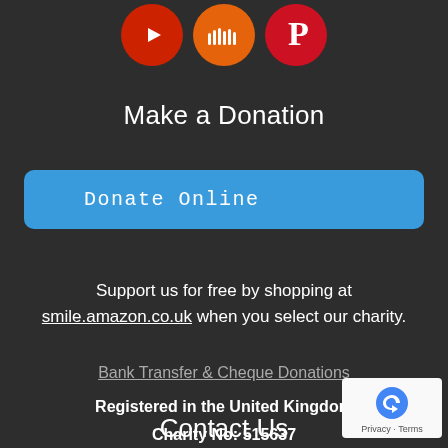[Figure (illustration): Three social media icon circles: YouTube (red, play button), SoundCloud (orange, cloud/wave icon), Pinterest (red, P icon)]
Make a Donation
[Figure (other): Blue rounded rectangle button labeled 'Donate Online']
Support us for free by shopping at smile.amazon.co.uk when you select our charity.
Bank Transfer & Cheque Donations
Registered in the United Kingdom
Charity No: 515637
Contact Us
[Figure (logo): Google reCAPTCHA badge with recaptcha logo and Privacy - Terms text]